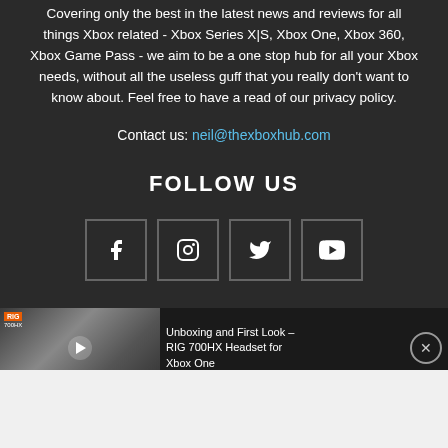Covering only the best in the latest news and reviews for all things Xbox related - Xbox Series X|S, Xbox One, Xbox 360, Xbox Game Pass - we aim to be a one stop hub for all your Xbox needs, without all the useless guff that you really don't want to know about. Feel free to have a read of our privacy policy.
Contact us: neil@thexboxhub.com
FOLLOW US
[Figure (other): Social media icons: Facebook, Instagram, Twitter, YouTube]
[Figure (screenshot): Video thumbnail and title bar: Unboxing and First Look - RIG 700HX Headset for Xbox One]